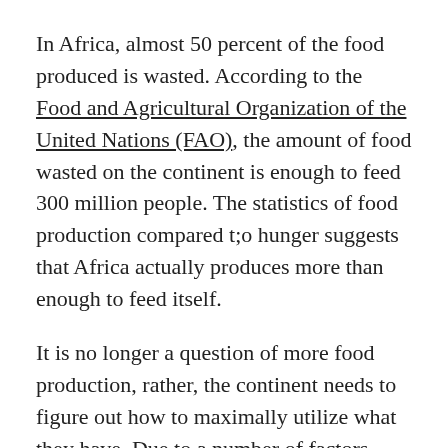In Africa, almost 50 percent of the food produced is wasted. According to the Food and Agricultural Organization of the United Nations (FAO), the amount of food wasted on the continent is enough to feed 300 million people. The statistics of food production compared t;o hunger suggests that Africa actually produces more than enough to feed itself.
It is no longer a question of more food production, rather, the continent needs to figure out how to maximally utilize what they have. Due to a number of factors, food is usually discarded, uneaten or lost at the stages of production, processing, retailing and consumption globally. However, in Africa, the bulk of wasted food is from post-harvest loss and consumer preferences. Mamadou Biteye, the Managing Director of the Rockefeller Foundation Africa, noted that in sub-Saharan